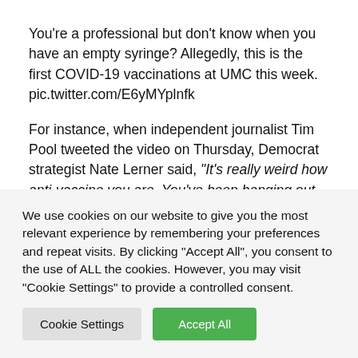You're a professional but don't know when you have an empty syringe? Allegedly, this is the first COVID-19 vaccinations at UMC this week. pic.twitter.com/E6yMYplnfk
For instance, when independent journalist Tim Pool tweeted the video on Thursday, Democrat strategist Nate Lerner said, “It’s really weird how anti-vaccine you are. You’ve been hanging out with Alex Jones too much, my guy.”
We use cookies on our website to give you the most relevant experience by remembering your preferences and repeat visits. By clicking “Accept All”, you consent to the use of ALL the cookies. However, you may visit "Cookie Settings" to provide a controlled consent.